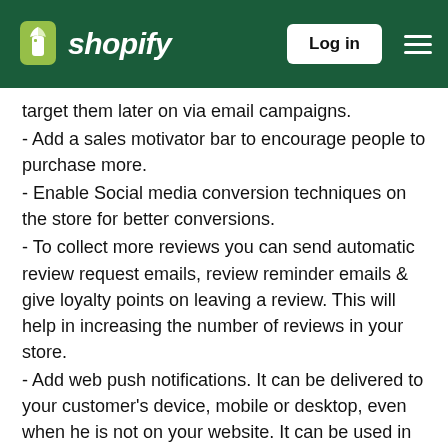Shopify — Log in
target them later on via email campaigns.
- Add a sales motivator bar to encourage people to purchase more.
- Enable Social media conversion techniques on the store for better conversions.
- To collect more reviews you can send automatic review request emails, review reminder emails & give loyalty points on leaving a review. This will help in increasing the number of reviews in your store.
- Add web push notifications. It can be delivered to your customer's device, mobile or desktop, even when he is not on your website. It can be used in retargeting with push notifications including browse abandonment, retargeting users